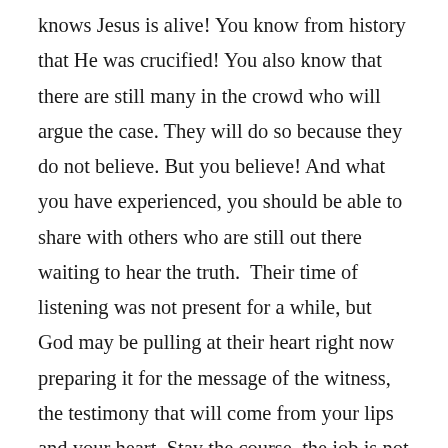knows Jesus is alive! You know from history that He was crucified! You also know that there are still many in the crowd who will argue the case. They will do so because they do not believe. But you believe! And what you have experienced, you should be able to share with others who are still out there waiting to hear the truth.  Their time of listening was not present for a while, but God may be pulling at their heart right now preparing it for the message of the witness, the testimony that will come from your lips and your heart. Stay the course, the job is not finished. When you see people still hurting, that is a person who needs to hear once again how much Jesus loves them. You don't have to have all the answers, just the willingness to share what Jesus has done in your life – your testimony.  Thanksgiving is a time when we